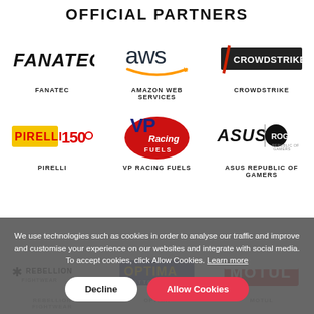OFFICIAL PARTNERS
[Figure (logo): FANATEC logo in black bold italic font]
FANATEC
[Figure (logo): AWS (Amazon Web Services) logo with orange arrow]
AMAZON WEB SERVICES
[Figure (logo): CrowdStrike logo white text on dark background with red slash]
CROWDSTRIKE
[Figure (logo): Pirelli 150 anniversary logo yellow and red]
PIRELLI
[Figure (logo): VP Racing Fuels logo red oval with blue VP letters]
VP RACING FUELS
[Figure (logo): ASUS Republic of Gamers logo]
ASUS REPUBLIC OF GAMERS
[Figure (logo): Rebellion Fightwear logo]
REBELLION FIGHTWEAR
[Figure (logo): Optima Batteries logo]
OPTIMA
[Figure (logo): Motul logo red and white]
MOTUL
We use technologies such as cookies in order to analyse our traffic and improve and customise your experience on our websites and integrate with social media. To accept cookies, click Allow Cookies. Learn more